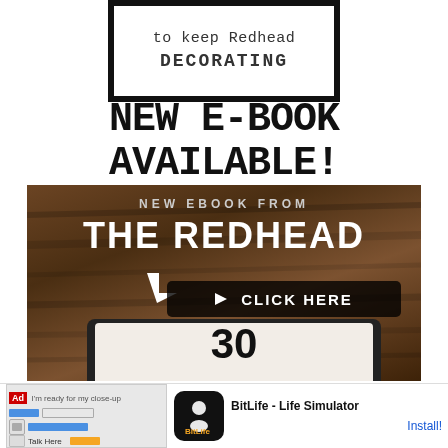[Figure (illustration): Bordered box with text 'to keep Redhead DECORATING']
NEW E-BOOK AVAILABLE!
[Figure (photo): Photo of a tablet on wooden background with text 'NEW EBOOK FROM THE REDHEAD' and 'CLICK HERE' arrow, showing number 30 on tablet screen]
[Figure (other): Ad banner for BitLife - Life Simulator with Install button]